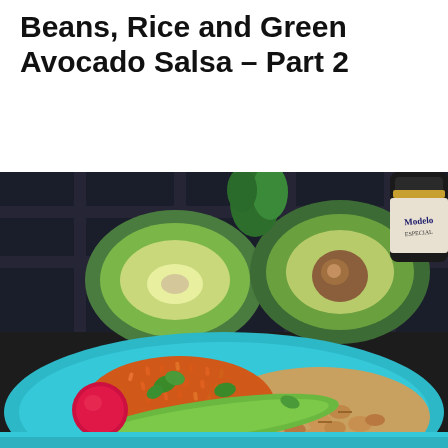Beans, Rice and Green Avocado Salsa – Part 2
[Figure (photo): A photo of a teal/turquoise plate with Mexican rice, pinto beans, green avocado salsa, cilantro, and a radish in the foreground. In the background, a halved avocado and a Modelo beer bottle are visible on a dark surface.]